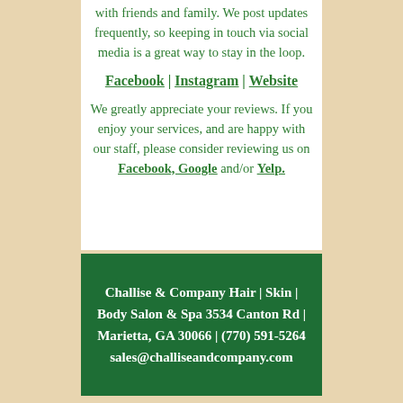with friends and family. We post updates frequently, so keeping in touch via social media is a great way to stay in the loop.
Facebook | Instagram | Website
We greatly appreciate your reviews. If you enjoy your services, and are happy with our staff, please consider reviewing us on Facebook, Google and/or Yelp.
Challise & Company Hair | Skin | Body Salon & Spa 3534 Canton Rd | Marietta, GA 30066 | (770) 591-5264 sales@challiseandcompany.com